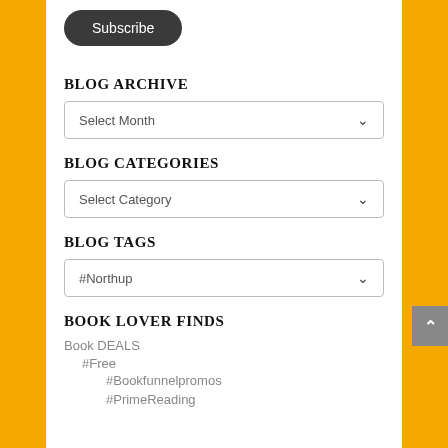Subscribe
BLOG ARCHIVE
Select Month
BLOG CATEGORIES
Select Category
BLOG TAGS
#Northup
BOOK LOVER FINDS
Book DEALS
#Free
#Bookfunnelpromos
#PrimeReading